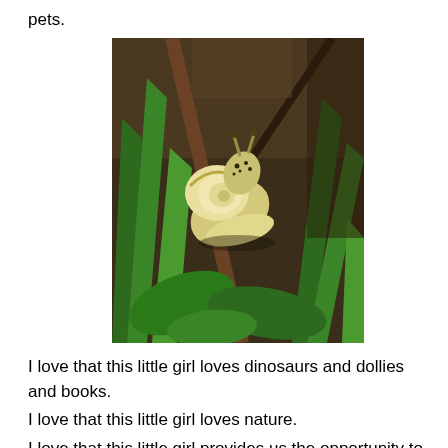pets.
[Figure (photo): Close-up photograph of a snail among green grass blades and leaves in a natural outdoor setting. The snail has a pale yellowish-cream body with a dark spotted head and is climbing on a brown grass stem.]
I love that this little girl loves dinosaurs and dollies and books.
I love that this little girl loves nature.
I love that this little girl provides us the opportunity to see